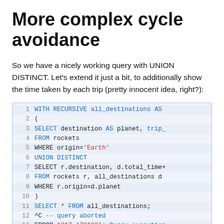More complex cycle avoidance
So we have a nicely working query with UNION DISTINCT. Let's extend it just a bit, to additionally show the time taken by each trip (pretty innocent idea, right?):
[Figure (screenshot): SQL code block with line numbers 1-13 showing a WITH RECURSIVE query with UNION DISTINCT, followed by a query abort error (ERROR 1317 (70100): Query execution)]
What? again it never ends? Indeed,